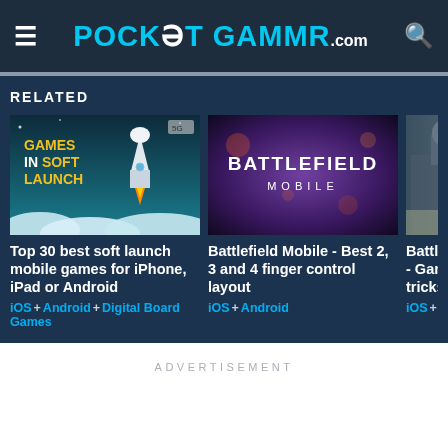PocketGamer.com
RELATED
[Figure (screenshot): Games in Soft Launch promotional image with rocket ship illustration on teal background]
Top 30 best soft launch mobile games for iPhone, iPad or Android
iOS + Android + Digital Board Games
[Figure (screenshot): Battlefield Mobile logo on dark purple/blue bokeh background]
Battlefield Mobile - Best 2, 3 and 4 finger control layout
iOS + Android
[Figure (screenshot): Battlefield Mobile gameplay screenshot of soldier, partially cropped]
Battlefield Mobile - Gameplay tips tricks
iOS + Android
ADVERTISEMENT